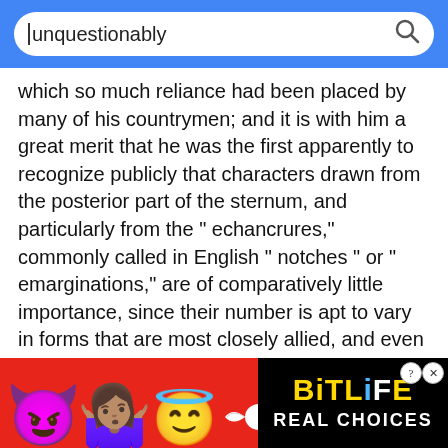[Figure (screenshot): Search bar with blue background showing the word 'unquestionably' typed in a rounded white search input, with a search magnifier icon on the right.]
which so much reliance had been placed by many of his countrymen; and it is with him a great merit that he was the first apparently to recognize publicly that characters drawn from the posterior part of the sternum, and particularly from the "echancrures," commonly called in English " notches " or " emarginations," are of comparatively little importance, since their number is apt to vary in forms that are most closely allied, and even in species that are usually associated in the same genus or unquestionably belong to the same family, 2 while these " notches " sometimes become simple foramina, as in certain pigeons, or
[Figure (infographic): Advertisement banner for BitLife game with red background, showing devil emoji, woman shrugging emoji, angel emoji, sperm icon, BitLife logo in yellow on black, and 'REAL CHOICES' text in white on black.]